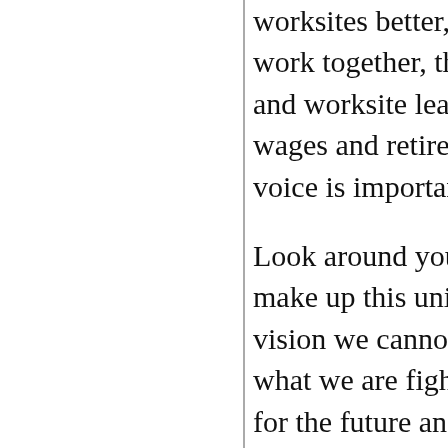worksites better, to keep our union strong. We work together, through collectively bargaining and worksite leadership, to keep our benefits, wages and retirement securities in place. Your voice is important to our council!
Look around you, your co-workers and you make up this union. Without you and your vision we cannot succeed. This page will have what we are fighting against, what we hope for for the future and what we have already achieved together. Let us know what you think. Let us know what is useful. This